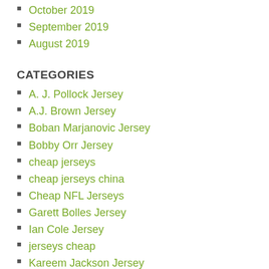October 2019
September 2019
August 2019
CATEGORIES
A. J. Pollock Jersey
A.J. Brown Jersey
Boban Marjanovic Jersey
Bobby Orr Jersey
cheap jerseys
cheap jerseys china
Cheap NFL Jerseys
Garett Bolles Jersey
Ian Cole Jersey
jerseys cheap
Kareem Jackson Jersey
Kevin Kiermaier Jersey
Patrik Nemeth Jersey
Tim Duncan Jersey
Troy Flowers Jersey